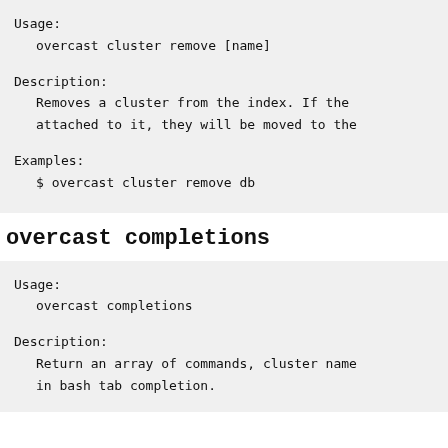Usage:
    overcast cluster remove [name]

Description:
    Removes a cluster from the index. If the
    attached to it, they will be moved to the

Examples:
    $ overcast cluster remove db
overcast completions
Usage:
    overcast completions

Description:
    Return an array of commands, cluster name
    in bash tab completion.